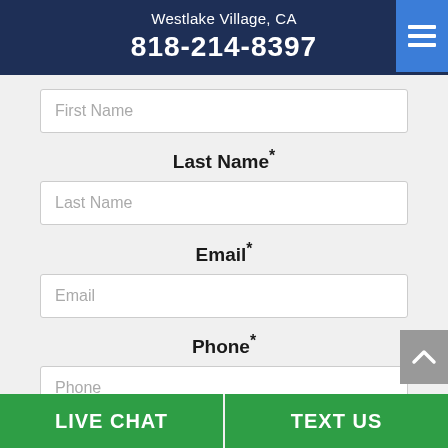Westlake Village, CA
818-214-8397
First Name
Last Name*
Last Name
Email*
Email
Phone*
Phone
Would you like our latest discount
LIVE CHAT   TEXT US